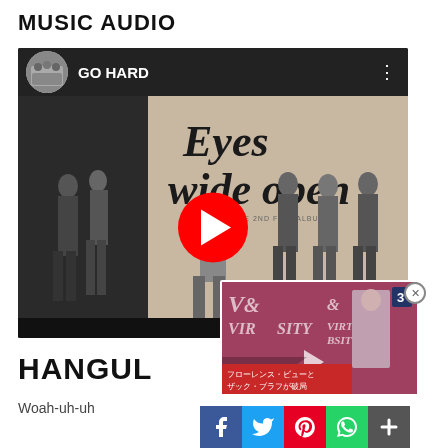MUSIC AUDIO
[Figure (screenshot): YouTube video player showing 'GO HARD' channel with 'Eyes wide open THE 2ND FULL ALBUM' cover art featuring a K-pop group in grey outfits. Red YouTube play button in center. Bottom bar in dark grey.]
[Figure (screenshot): Overlapping ad thumbnail showing 'VISION & VIRTUOSITY' text with a person and a close button (X). Japanese caption text reading フローレンス・ビューとザック・ブラフが破局.]
[Figure (screenshot): Social share bar with Facebook, Twitter, Pinterest, WhatsApp, and a plus button icons.]
HANGUL
Woah-uh-uh